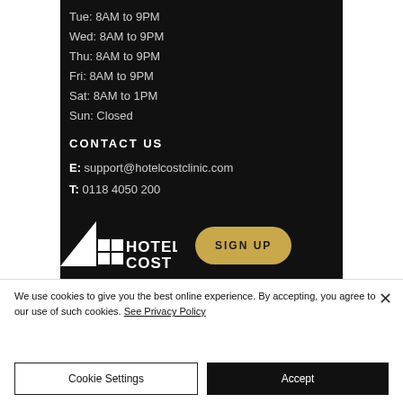Tue: 8AM to 9PM
Wed: 8AM to 9PM
Thu: 8AM to 9PM
Fri: 8AM to 9PM
Sat: 8AM to 1PM
Sun: Closed
CONTACT US
E: support@hotelcostclinic.com
T: 0118 4050 200
[Figure (logo): Hotel Cost Clinic logo with triangle and grid icon, white on black, beside a gold SIGN UP button]
We use cookies to give you the best online experience. By accepting, you agree to our use of such cookies. See Privacy Policy
Cookie Settings
Accept